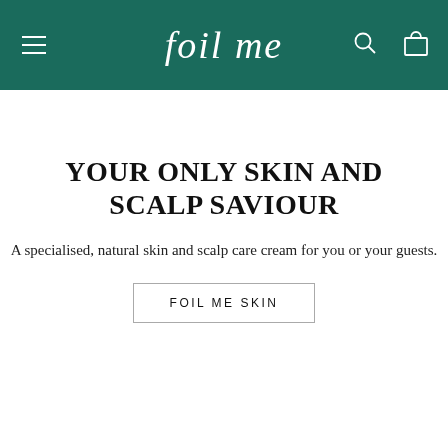foil me
YOUR ONLY SKIN AND SCALP SAVIOUR
A specialised, natural skin and scalp care cream for you or your guests.
FOIL ME SKIN